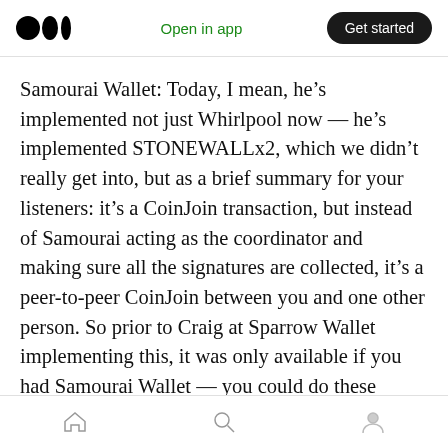Open in app | Get started
Samourai Wallet: Today, I mean, he’s implemented not just Whirlpool now — he’s implemented STONEWALLx2, which we didn’t really get into, but as a brief summary for your listeners: it’s a CoinJoin transaction, but instead of Samourai acting as the coordinator and making sure all the signatures are collected, it’s a peer-to-peer CoinJoin between you and one other person. So prior to Craig at Sparrow Wallet implementing this, it was only available if you had Samourai Wallet — you could do these CoinJoins with another Samourai Wallet user.
home search profile